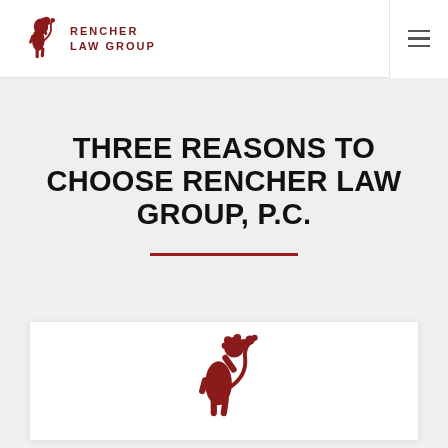Rencher Law Group
THREE REASONS TO CHOOSE RENCHER LAW GROUP, P.C.
[Figure (logo): Red heraldic lion rampant logo for Rencher Law Group]